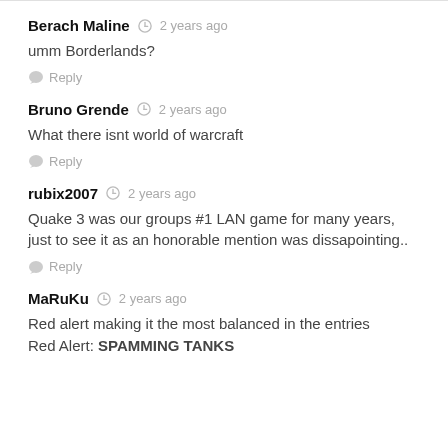Berach Maline · 2 years ago
umm Borderlands?
Reply
Bruno Grende · 2 years ago
What there isnt world of warcraft
Reply
rubix2007 · 2 years ago
Quake 3 was our groups #1 LAN game for many years, just to see it as an honorable mention was dissapointing..
Reply
MaRuKu · 2 years ago
Red alert making it the most balanced in the entries
Red Alert: SPAMMING TANKS